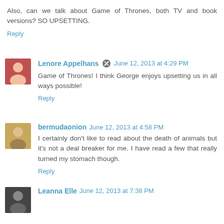Also, can we talk about Game of Thrones, both TV and book versions? SO UPSETTING.
Reply
Lenore Appelhans  June 12, 2013 at 4:29 PM
Game of Thrones! I think George enjoys upsetting us in all ways possible!
Reply
bermudaonion  June 12, 2013 at 4:58 PM
I certainly don't like to read about the death of animals but it's not a deal breaker for me. I have read a few that really turned my stomach though.
Reply
Leanna Elle  June 12, 2013 at 7:38 PM